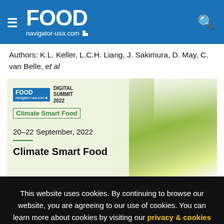FOOD navigator-usa.com
Authors: K.L. Keller, L.C.H. Liang, J. Sakimura, D. May, C. van Belle, et al
[Figure (illustration): Food Navigator Digital Summit 2022 - Climate Smart Food event card. Shows FOOD navigator-usa.com logo with 'DIGITAL SUMMIT 2022' and 'Climate Smart Food' in green text, dated 20-22 September, 2022. Background shows green plant leaves.]
This website uses cookies. By continuing to browse our website, you are agreeing to our use of cookies. You can learn more about cookies by visiting our privacy & cookies policy page.